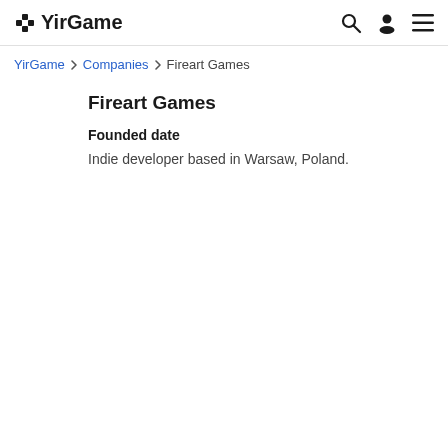YirGame
YirGame > Companies > Fireart Games
Fireart Games
Founded date
Indie developer based in Warsaw, Poland.